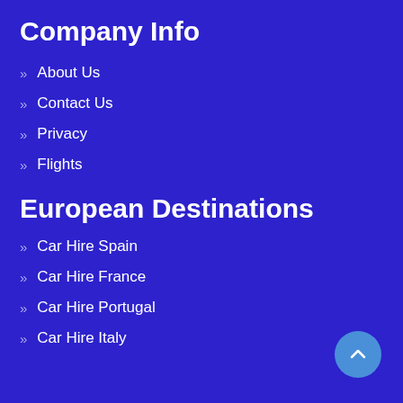Company Info
About Us
Contact Us
Privacy
Flights
European Destinations
Car Hire Spain
Car Hire France
Car Hire Portugal
Car Hire Italy